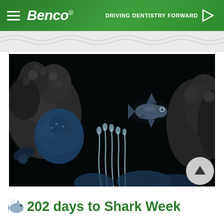Benco® — DRIVING DENTISTRY FORWARD
[Figure (screenshot): Underwater scene from an animated video showing a small shark fish swimming in a dark ocean environment with coral and rock formations in blue-grey tones, resembling an aquarium or animated ocean scene.]
202 days to Shark Week